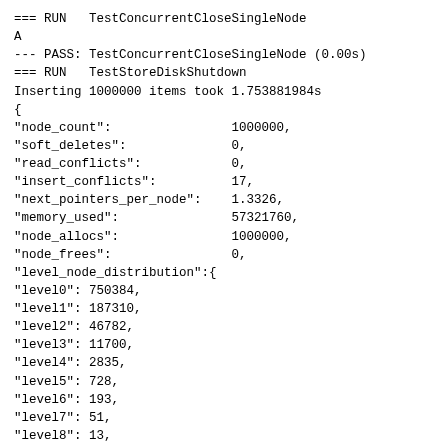=== RUN   TestConcurrentCloseSingleNode
A
--- PASS: TestConcurrentCloseSingleNode (0.00s)
=== RUN   TestStoreDiskShutdown
Inserting 1000000 items took 1.753881984s
{
"node_count":                1000000,
"soft_deletes":              0,
"read_conflicts":            0,
"insert_conflicts":          17,
"next_pointers_per_node":    1.3326,
"memory_used":               57321760,
"node_allocs":               1000000,
"node_frees":                0,
"level_node_distribution":{
"level0": 750384,
"level1": 187310,
"level2": 46782,
"level3": 11700,
"level4": 2835,
"level5": 728,
"level6": 193,
"level7": 51,
"level8": 13,
"level9": 3,
"level10": 1,
"level11": 0,
"level12": 0,
"level13": 0,
"level14": 0,